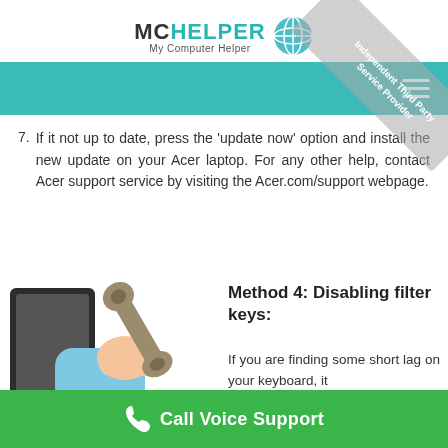MCHELPER My Computer Helper
7. If it not up to date, press the 'update now' option and install the new update on your Acer laptop. For any other help, contact Acer support service by visiting the Acer.com/support webpage.
[Figure (illustration): Illustration of a hand holding a wrench emerging from a computer monitor screen]
Method 4: Disabling filter keys:
If you are finding some short lag on your keyboard, it
Call Voice Support